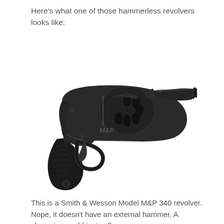Here's what one of those hammerless revolvers looks like:
[Figure (photo): Smith & Wesson Model M&P 340 hammerless revolver, black finish, shown from the left side. The revolver has a short barrel, exposed cylinder, no external hammer, and a black rubber grip with the M&P logo visible on the frame.]
This is a Smith & Wesson Model M&P 340 revolver. Nope, it doesn't have an external hammer. A character would just pull